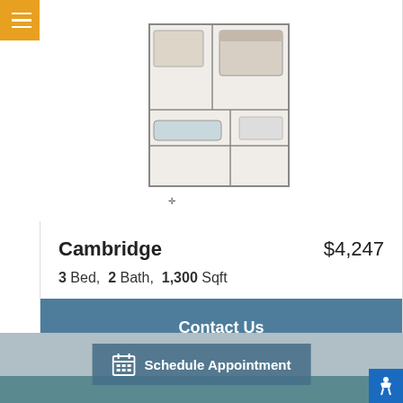[Figure (illustration): Apartment floor plan for Cambridge unit showing room layout from overhead view]
Cambridge    $4,247
3 Bed,  2 Bath,  1,300 Sqft
Contact Us
Schedule Appointment